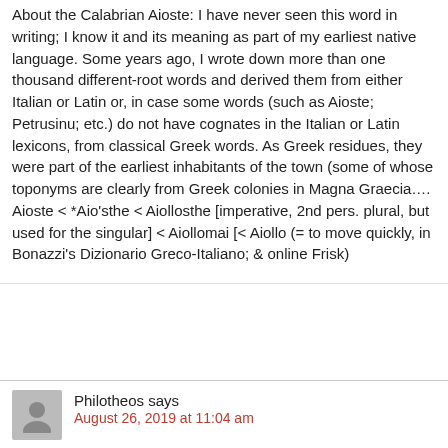About the Calabrian Aioste: I have never seen this word in writing; I know it and its meaning as part of my earliest native language. Some years ago, I wrote down more than one thousand different-root words and derived them from either Italian or Latin or, in case some words (such as Aioste; Petrusinu; etc.) do not have cognates in the Italian or Latin lexicons, from classical Greek words. As Greek residues, they were part of the earliest inhabitants of the town (some of whose toponyms are clearly from Greek colonies in Magna Graecia…. Aioste < *Aio'sthe < Aiollosthe [imperative, 2nd pers. plural, but used for the singular] < Aiollomai [< Aiollo (= to move quickly, in Bonazzi's Dizionario Greco-Italiano; & online Frisk)
Philotheos says
August 26, 2019 at 11:04 am